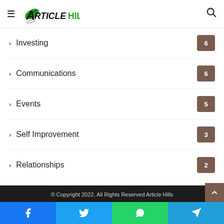ArticleHills navigation header with hamburger menu and search icon
Investing 6
Communications 6
Events 5
Self Improvement 3
Relationships 2
© Copyright 2022, All Rights Reserved Article Hills
Social icons: Facebook, Twitter, YouTube, Instagram
Bottom bar: Facebook, Twitter, WhatsApp, Telegram